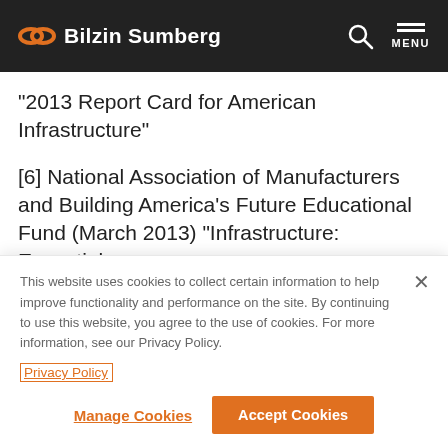Bilzin Sumberg
"2013 Report Card for American Infrastructure"
[6] National Association of Manufacturers and Building America's Future Educational Fund (March 2013) "Infrastructure: Essential
This website uses cookies to collect certain information to help improve functionality and performance on the site. By continuing to use this website, you agree to the use of cookies. For more information, see our Privacy Policy.
Privacy Policy
Manage Cookies
Accept Cookies